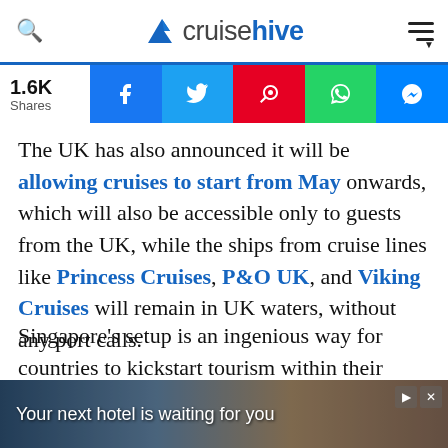cruise hive
[Figure (infographic): Social share bar showing 1.6K shares with Facebook, Twitter, Flipboard, WhatsApp, and Messenger buttons]
The UK has also announced it will be allowing cruises to start from May onwards, which will also be accessible only to guests from the UK, while the ships from cruise lines like Princess Cruises, P&O UK, and Viking Cruises will remain in UK waters, without any port calls.
Singapore's setup is an ingenious way for countries to kickstart tourism within their borders and provide thousands of people dependent on the c… is
[Figure (infographic): Advertisement banner: Your next hotel is waiting for you]